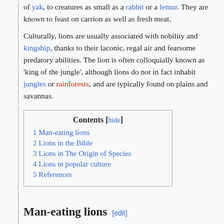of yak, to creatures as small as a rabbit or a lemur. They are known to feast on carrion as well as fresh meat.
Culturally, lions are usually associated with nobility and kingship, thanks to their laconic, regal air and fearsome predatory abilities. The lion is often colloquially known as 'king of the jungle', although lions do not in fact inhabit jungles or rainforests, and are typically found on plains and savannas.
| 1 Man-eating lions |
| 2 Lions in the Bible |
| 3 Lions in The Origin of Species |
| 4 Lions in popular culture |
| 5 References |
Man-eating lions [edit]